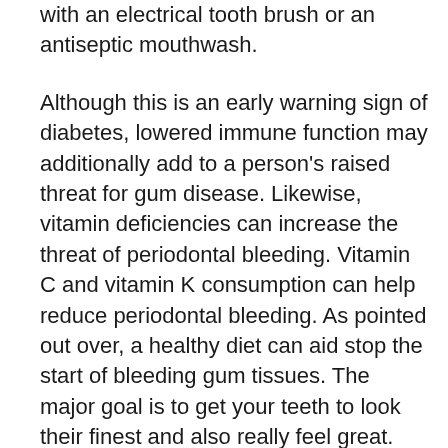with an electrical tooth brush or an antiseptic mouthwash.
Although this is an early warning sign of diabetes, lowered immune function may additionally add to a person's raised threat for gum disease. Likewise, vitamin deficiencies can increase the threat of periodontal bleeding. Vitamin C and vitamin K consumption can help reduce periodontal bleeding. As pointed out over, a healthy diet can aid stop the start of bleeding gum tissues. The major goal is to get your teeth to look their finest and also really feel great. The bleeding periodontals brought on by gingivitis might be the very early indicator of diabetes mellitus.